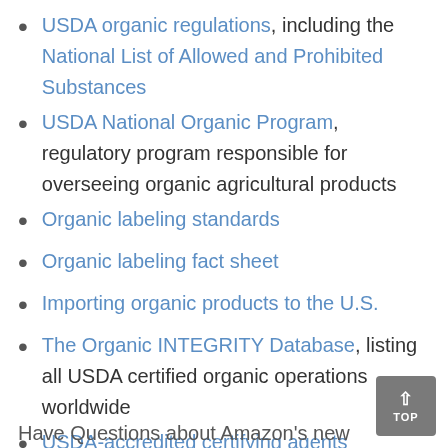USDA organic regulations, including the National List of Allowed and Prohibited Substances
USDA National Organic Program, regulatory program responsible for overseeing organic agricultural products
Organic labeling standards
Organic labeling fact sheet
Importing organic products to the U.S.
The Organic INTEGRITY Database, listing all USDA certified organic operations worldwide
USDA-accredited certifying agents
Have Questions about Amazon's new